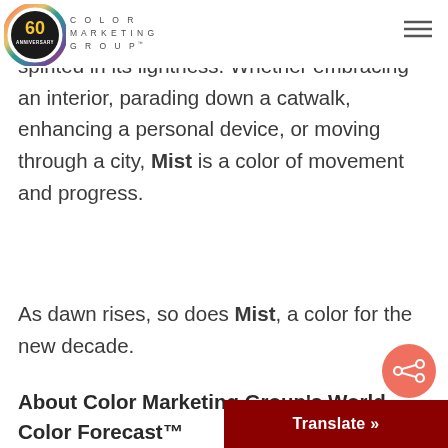COLOR MARKETING GROUP 60 ANNIVERSARY
whisper of toned grey and minimal chroma spirited in its lightness. Whether embracing an interior, parading down a catwalk, enhancing a personal device, or moving through a city, Mist is a color of movement and progress.
As dawn rises, so does Mist, a color for the new decade.
About Color Marketing Group's World Color Forecast™